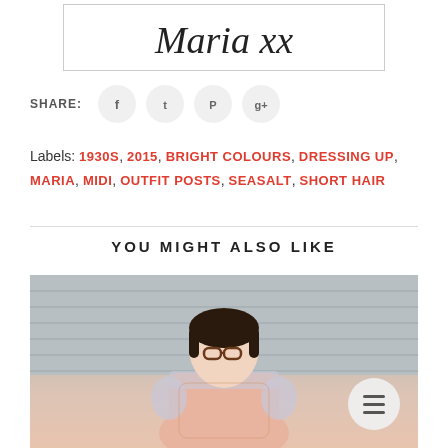[Figure (illustration): Cursive handwritten signature reading 'Maria xx' inside a bordered box]
SHARE:
[Figure (infographic): Social sharing icons: Facebook, Twitter, Pinterest, Google+ as circular buttons]
Labels: 1930S, 2015, BRIGHT COLOURS, DRESSING UP, MARIA, MIDI, OUTFIT POSTS, SEASALT, SHORT HAIR
YOU MIGHT ALSO LIKE
[Figure (photo): Photo of a woman with short dark hair and glasses, wearing a pink top with lace details, standing against a grey siding wall]